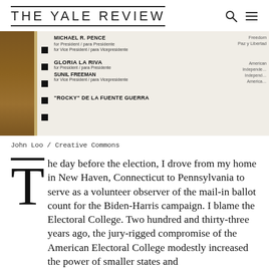THE YALE REVIEW
[Figure (photo): Close-up photograph of a US election ballot showing candidate names including Michael R. Pence, Gloria La Riva, Sunil Freeman, and Rocky de la Fuente Guerra, with checkboxes on the left side. A wooden surface is visible on the left edge.]
John Loo / Creative Commons
The day before the election, I drove from my home in New Haven, Connecticut to Pennsylvania to serve as a volunteer observer of the mail-in ballot count for the Biden-Harris campaign. I blame the Electoral College. Two hundred and thirty-three years ago, the jury-rigged compromise of the American Electoral College modestly increased the power of smaller states and